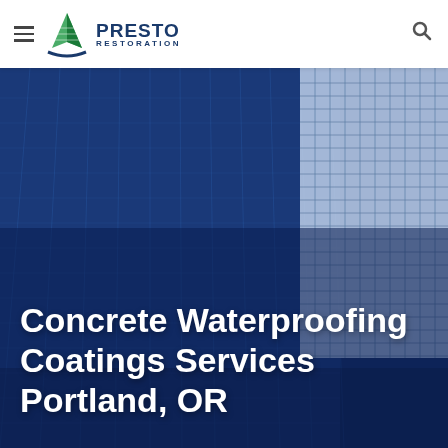Presto Restoration
[Figure (photo): Upward-angled view of a tall glass and steel skyscraper facade against a blue sky, with strong blue tone overlay. A modern high-rise building shot from below looking up.]
Concrete Waterproofing Coatings Services Portland, OR